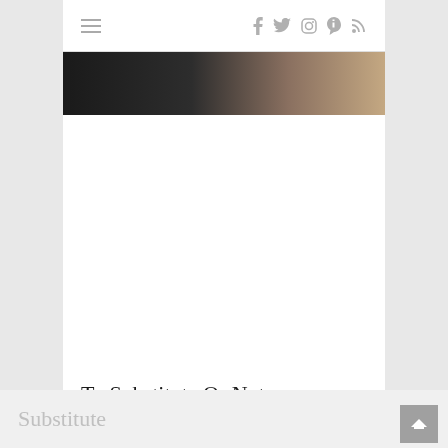≡  f  tw  ig  p  rss
[Figure (photo): Partial photo strip showing a dark background transitioning to skin tone, cropped at the top of the main content area]
To Substitute Or Not
Substitute